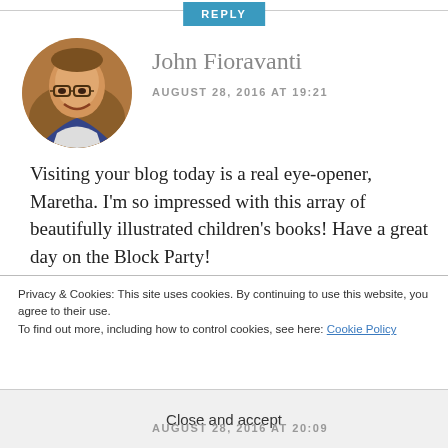REPLY
[Figure (photo): Circular avatar photo of John Fioravanti, a middle-aged man with glasses, smiling, wearing casual clothing]
John Fioravanti
AUGUST 28, 2016 AT 19:21
Visiting your blog today is a real eye-opener, Maretha. I'm so impressed with this array of beautifully illustrated children's books! Have a great day on the Block Party!
Privacy & Cookies: This site uses cookies. By continuing to use this website, you agree to their use.
To find out more, including how to control cookies, see here: Cookie Policy
Close and accept
AUGUST 28, 2016 AT 20:09